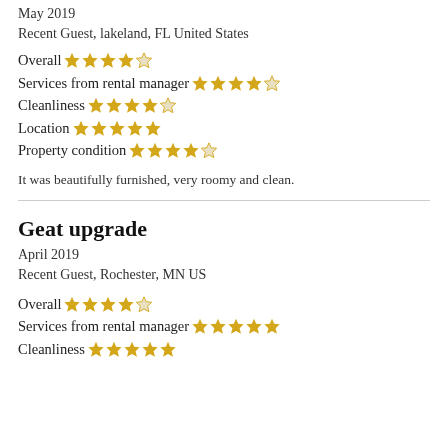May 2019
Recent Guest, lakeland, FL United States
Overall ★★★★☆
Services from rental manager ★★★★☆
Cleanliness ★★★★☆
Location ★★★★★
Property condition ★★★★☆
It was beautifully furnished, very roomy and clean.
Geat upgrade
April 2019
Recent Guest, Rochester, MN US
Overall ★★★★☆
Services from rental manager ★★★★★
Cleanliness ★★★★★